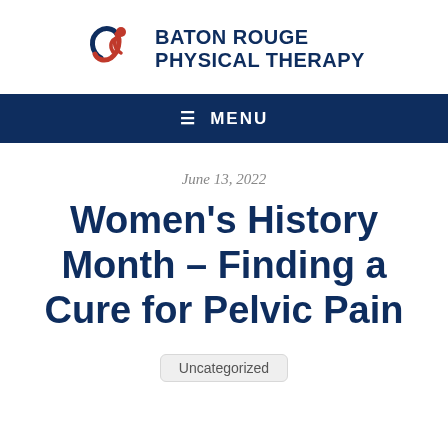BATON ROUGE PHYSICAL THERAPY
≡ MENU
June 13, 2022
Women's History Month – Finding a Cure for Pelvic Pain
Uncategorized